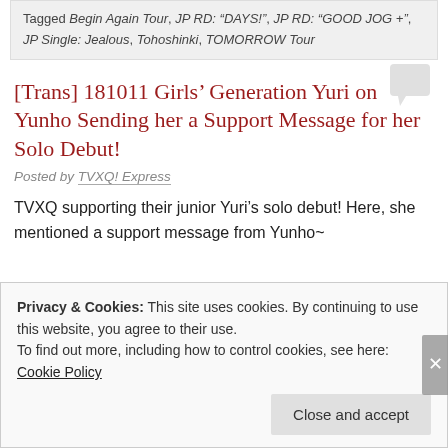Tagged Begin Again Tour, JP RD: "DAYS!", JP RD: "GOOD JOG +", JP Single: Jealous, Tohoshinki, TOMORROW Tour
[Trans] 181011 Girls’ Generation Yuri on Yunho Sending her a Support Message for her Solo Debut!
Posted by TVXQ! Express
TVXQ supporting their junior Yuri’s solo debut! Here, she mentioned a support message from Yunho~
Privacy & Cookies: This site uses cookies. By continuing to use this website, you agree to their use.
To find out more, including how to control cookies, see here: Cookie Policy